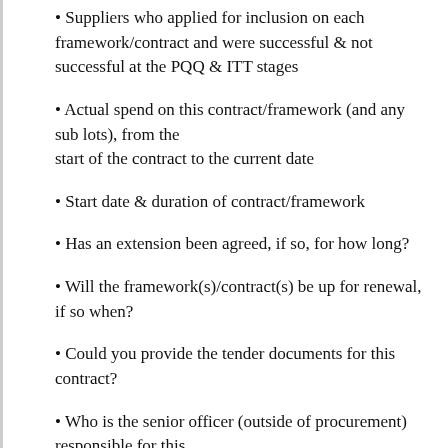Suppliers who applied for inclusion on each framework/contract and were successful & not successful at the PQQ & ITT stages
Actual spend on this contract/framework (and any sub lots), from the start of the contract to the current date
Start date & duration of contract/framework
Has an extension been agreed, if so, for how long?
Will the framework(s)/contract(s) be up for renewal, if so when?
Could you provide the tender documents for this contract?
Who is the senior officer (outside of procurement) responsible for this contract?